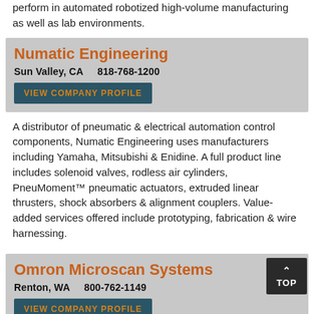perform in automated robotized high-volume manufacturing as well as lab environments.
Numatic Engineering
Sun Valley, CA    818-768-1200
VIEW COMPANY PROFILE
A distributor of pneumatic & electrical automation control components, Numatic Engineering uses manufacturers including Yamaha, Mitsubishi & Enidine. A full product line includes solenoid valves, rodless air cylinders, PneuMoment™ pneumatic actuators, extruded linear thrusters, shock absorbers & alignment couplers. Value-added services offered include prototyping, fabrication & wire harnessing.
Omron Microscan Systems
Renton, WA    800-762-1149
VIEW COMPANY PROFILE